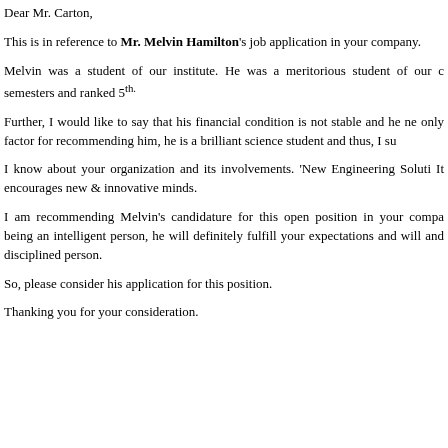Dear Mr. Carton,
This is in reference to Mr. Melvin Hamilton's job application in your company.
Melvin was a student of our institute. He was a meritorious student of our c... semesters and ranked 5th.
Further, I would like to say that his financial condition is not stable and he ne... only factor for recommending him, he is a brilliant science student and thus, I su...
I know about your organization and its involvements. 'New Engineering Soluti... It encourages new & innovative minds.
I am recommending Melvin's candidature for this open position in your compa... being an intelligent person, he will definitely fulfill your expectations and will... and disciplined person.
So, please consider his application for this position.
Thanking you for your consideration.